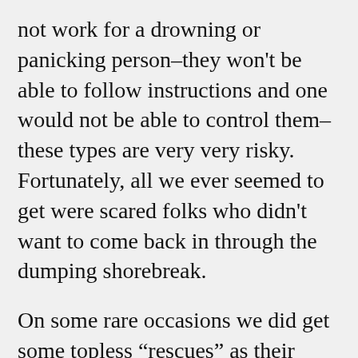not work for a drowning or panicking person–they won't be able to follow instructions and one would not be able to control them–these types are very very risky. Fortunately, all we ever seemed to get were scared folks who didn't want to come back in through the dumping shorebreak.
On some rare occasions we did get some topless “escues” as their bikini top got ripped off in the shorebreak and this presented it's own unique set of complications–I'll leave that to your imaginations!!! Or, the hapless tourist female crawling back up the steep